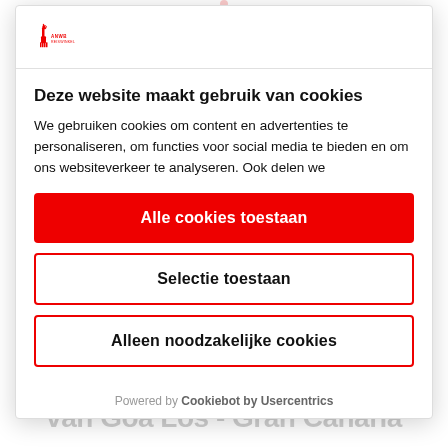[Figure (logo): Red giraffe logo with brand name]
Deze website maakt gebruik van cookies
We gebruiken cookies om content en advertenties te personaliseren, om functies voor social media te bieden en om ons websiteverkeer te analyseren. Ook delen we
Alle cookies toestaan
Selectie toestaan
Alleen noodzakelijke cookies
Powered by Cookiebot by Usercentrics
van Goa Los - Gran Canaria